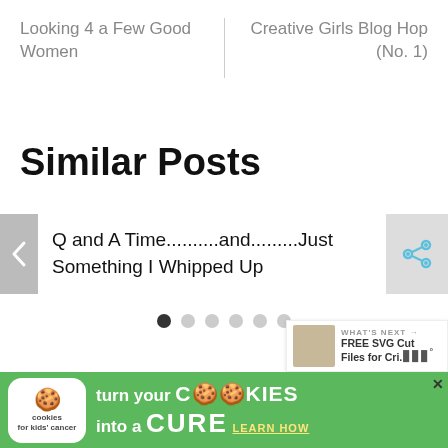Looking 4 a Few Good Women
Creative Girls Blog Hop (No. 1)
Similar Posts
Q and A Time..........and.........Just Something I Whipped Up
[Figure (screenshot): Pagination dots for carousel, 6 dots with first one active]
[Figure (screenshot): Advertisement banner: cookies for kids cancer - turn your COOKIES into a CURE LEARN HOW]
[Figure (screenshot): What's Next widget: FREE SVG Cut Files for Cri...]